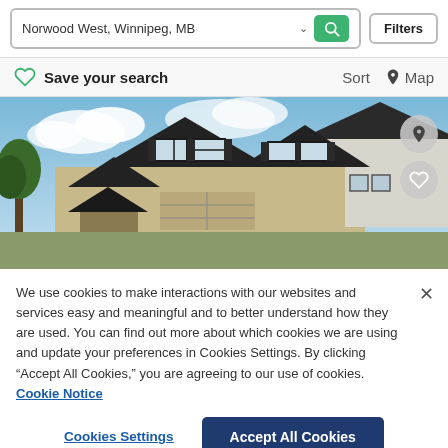Norwood West, Winnipeg, MB
Filters
Save your search
Sort   Map
[Figure (photo): Photo of a two-storey residential house with beige siding and dark roof, blue sky with clouds in background, with pin and heart icon overlays]
We use cookies to make interactions with our websites and services easy and meaningful and to better understand how they are used. You can find out more about which cookies we are using and update your preferences in Cookies Settings. By clicking “Accept All Cookies,” you are agreeing to our use of cookies.  Cookie Notice
Cookies Settings
Accept All Cookies